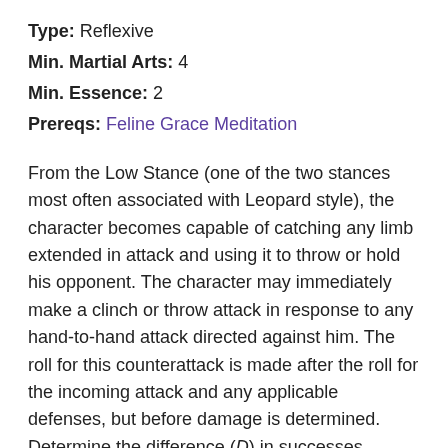Type: Reflexive
Min. Martial Arts: 4
Min. Essence: 2
Prereqs: Feline Grace Meditation
From the Low Stance (one of the two stances most often associated with Leopard style), the character becomes capable of catching any limb extended in attack and using it to throw or hold his opponent. The character may immediately make a clinch or throw attack in response to any hand-to-hand attack directed against him. The roll for this counterattack is made after the roll for the incoming attack and any applicable defenses, but before damage is determined. Determine the difference (D) in successes between the incoming attack and the counterattack (thrown counterattacks still subtract 1 success, as usual). If the counterattack scores more successes, then the incoming attack misses completely and the